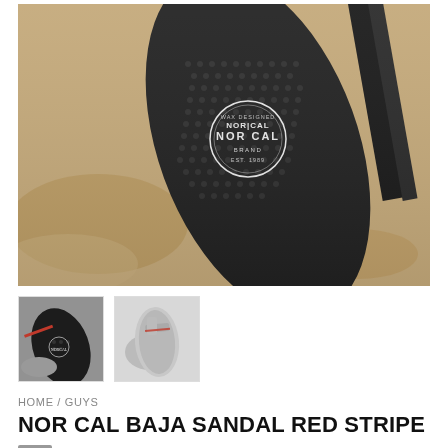[Figure (photo): Close-up photo of a dark/black Nor Cal brand flip-flop sandal sole on sandy beach background. The sole shows the NOR CAL brand logo in a circular badge with text 'NOR CAL' and 'BRAND'. The textured rubber sole and black straps are visible.]
[Figure (photo): Thumbnail image showing the Nor Cal Baja sandal from an angle on a rocky surface, showing dark sandal with colored stripe.]
[Figure (photo): Thumbnail image showing the Nor Cal Baja sandal in lighter gray color on a rocky surface.]
HOME / GUYS
NOR CAL BAJA SANDAL RED STRIPE